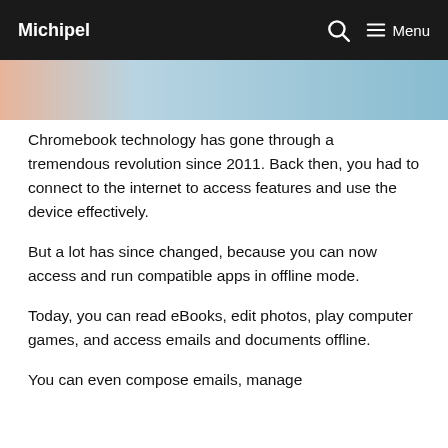Michipel   Menu
[Figure (illustration): Partial view of a Chromebook-related banner image with warm and blue tones]
Chromebook technology has gone through a tremendous revolution since 2011. Back then, you had to connect to the internet to access features and use the device effectively.
But a lot has since changed, because you can now access and run compatible apps in offline mode.
Today, you can read eBooks, edit photos, play computer games, and access emails and documents offline.
You can even compose emails, manage